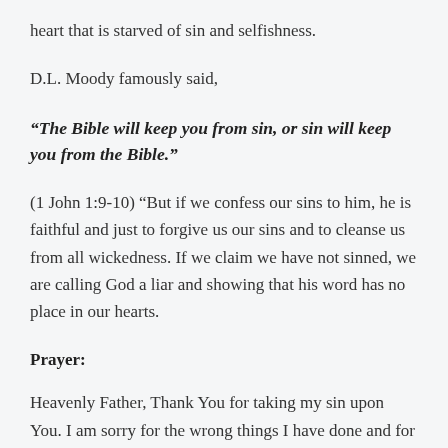heart that is starved of sin and selfishness.
D.L. Moody famously said,
“The Bible will keep you from sin, or sin will keep you from the Bible.”
(1 John 1:9-10) “But if we confess our sins to him, he is faithful and just to forgive us our sins and to cleanse us from all wickedness. If we claim we have not sinned, we are calling God a liar and showing that his word has no place in our hearts.
Prayer:
Heavenly Father, Thank You for taking my sin upon You. I am sorry for the wrong things I have done and for the right I have failed to do. I don’t want to be spiritually deaf to hear you, or spiritually blind to see your plan for my life any longer.